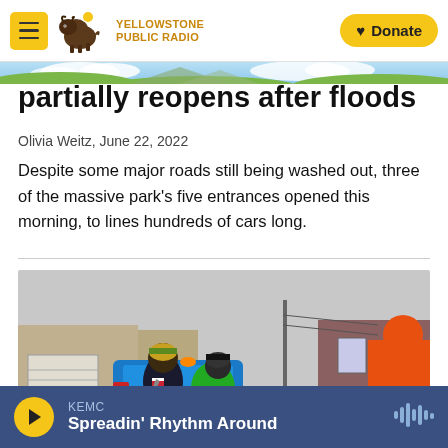Yellowstone Public Radio — Donate
partially reopens after floods
Olivia Weitz, June 22, 2022
Despite some major roads still being washed out, three of the massive park's five entrances opened this morning, to lines hundreds of cars long.
[Figure (photo): Emergency responders in winter gear and bright jackets attending to someone on a stretcher next to a blue vehicle, in a snowy outdoor setting with buildings in the background.]
KEMC — Spreadin' Rhythm Around